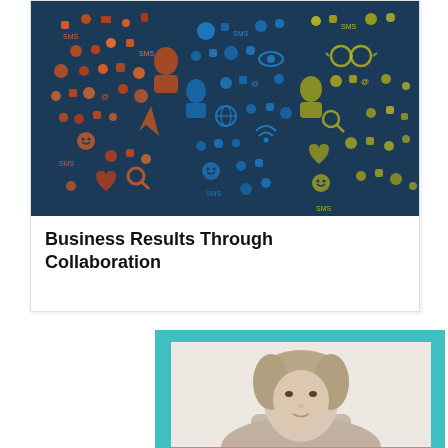[Figure (illustration): Social media icons arranged in the shape of two speech bubbles or a map of the United States on a dark navy background. Icons include communication symbols (SMS, email, phone, social profiles) in orange/red on the left, blue/teal in the middle, and yellow/green on the right.]
Business Results Through Collaboration
[Figure (photo): Portrait photo of a woman with blonde/gray hair, framed within a teal/turquoise border card, showing her face and upper body against a light background.]